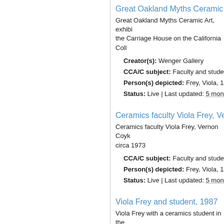Great Oakland Myths Ceramic A...
Great Oakland Myths Ceramic Art, exhibi... the Carriage House on the California Coll...
Creator(s): Wenger Gallery
CCA/C subject: Faculty and students a...
Person(s) depicted: Frey, Viola, 1933-...
Status: Live | Last updated: 5 months a...
Ceramics faculty Viola Frey, Verr...
Ceramics faculty Viola Frey, Vernon Coyk... circa 1973
CCA/C subject: Faculty and students a...
Person(s) depicted: Frey, Viola, 1933-...
Status: Live | Last updated: 5 months a...
Viola Frey and student, 1987
Viola Frey with a ceramics student in the... and Crafts, Oakland, 1987
CCA/C subject: Faculty and students a...
Person(s) depicted: Frey, Viola, 1933-...